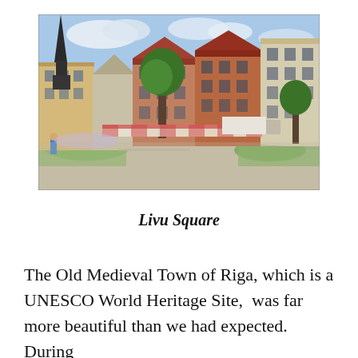[Figure (photo): Livu Square in Old Riga, Latvia. A wide outdoor square with historic multi-storey buildings with terracotta and orange roofs, a tall church spire on the left, green trees, outdoor market stalls with white awnings, a large truck in the background, and pedestrians walking in the square. Blue sky with clouds above.]
Livu Square
The Old Medieval Town of Riga, which is a UNESCO World Heritage Site,  was far more beautiful than we had expected.  During